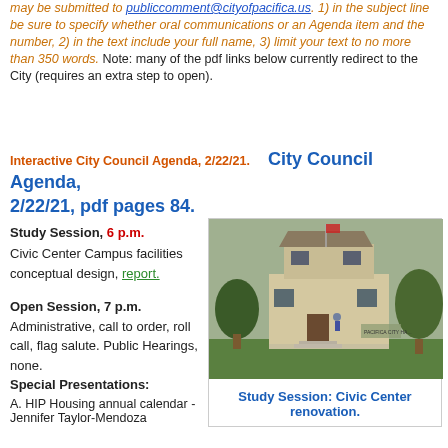may be submitted to publiccomment@cityofpacifica.us. 1) in the subject line be sure to specify whether oral communications or an Agenda item and the number, 2) in the text include your full name, 3) limit your text to no more than 350 words. Note: many of the pdf links below currently redirect to the City (requires an extra step to open).
Interactive City Council Agenda, 2/22/21.    City Council Agenda, 2/22/21, pdf pages 84.
Study Session, 6 p.m.
Civic Center Campus facilities conceptual design, report.
[Figure (photo): Photo of Pacifica City Hall building surrounded by trees and lawn]
Study Session: Civic Center renovation.
Open Session, 7 p.m. Administrative, call to order, roll call, flag salute. Public Hearings, none.
Special Presentations:
A. HIP Housing annual calendar - Jennifer Taylor-Mendoza